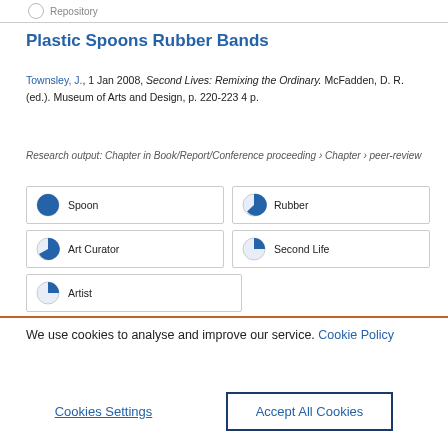Repository
Plastic Spoons Rubber Bands
Townsley, J., 1 Jan 2008, Second Lives: Remixing the Ordinary. McFadden, D. R. (ed.). Museum of Arts and Design, p. 220-223 4 p.
Research output: Chapter in Book/Report/Conference proceeding › Chapter › peer-review
[Figure (infographic): Five keyword badges: 100% Spoon, 90% Rubber, 60% Art Curator, 50% Second Life, 50% Artist, each with a circular pie-chart icon showing the percentage fill]
We use cookies to analyse and improve our service. Cookie Policy
Cookies Settings
Accept All Cookies